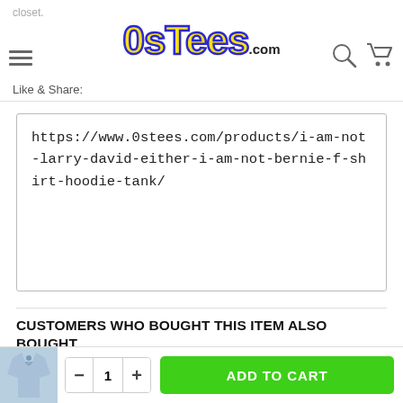OsTees.com
closet.
Like & Share:
https://www.0stees.com/products/i-am-not-larry-david-either-i-am-not-bernie-f-shirt-hoodie-tank/
CUSTOMERS WHO BOUGHT THIS ITEM ALSO BOUGHT
[Figure (photo): Black t-shirt with 'Black Queens' graphic design]
[Figure (photo): Black t-shirt with 'THE BEST NURSES' graphic design]
[Figure (photo): Light blue hoodie thumbnail in bottom bar]
ADD TO CART